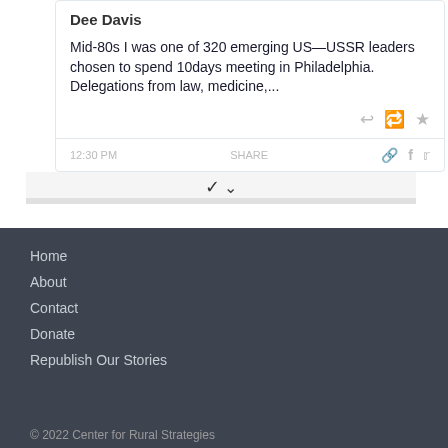Dee Davis
Mid-80s I was one of 320 emerging US—USSR leaders chosen to spend 10days meeting in Philadelphia. Delegations from law, medicine,...
[Figure (screenshot): Tweet card with action icons (reply, retweet, favorite) and footer showing time, share label, and social icons (link, facebook, twitter), with a expand/chevron row below]
Home
About
Contact
Donate
Republish Our Stories
© 2022 Center for Rural Strategies